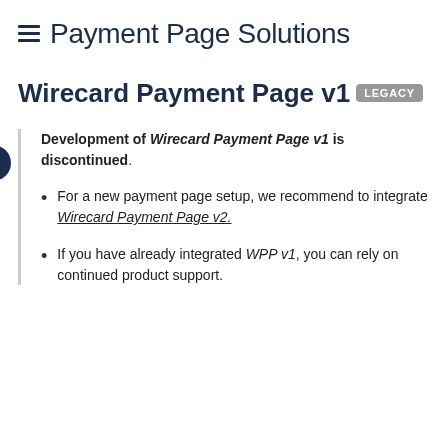Payment Page Solutions
Wirecard Payment Page v1 LEGACY
Development of Wirecard Payment Page v1 is discontinued.
For a new payment page setup, we recommend to integrate Wirecard Payment Page v2.
If you have already integrated WPP v1, you can rely on continued product support.